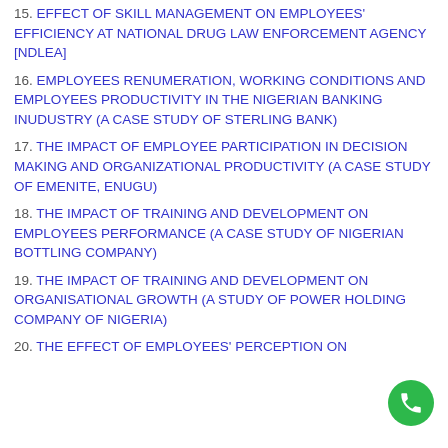15. EFFECT OF SKILL MANAGEMENT ON EMPLOYEES' EFFICIENCY AT NATIONAL DRUG LAW ENFORCEMENT AGENCY [NDLEA]
16. EMPLOYEES RENUMERATION, WORKING CONDITIONS AND EMPLOYEES PRODUCTIVITY IN THE NIGERIAN BANKING INUDUSTRY (A CASE STUDY OF STERLING BANK)
17. THE IMPACT OF EMPLOYEE PARTICIPATION IN DECISION MAKING AND ORGANIZATIONAL PRODUCTIVITY (A CASE STUDY OF EMENITE, ENUGU)
18. THE IMPACT OF TRAINING AND DEVELOPMENT ON EMPLOYEES PERFORMANCE (A CASE STUDY OF NIGERIAN BOTTLING COMPANY)
19. THE IMPACT OF TRAINING AND DEVELOPMENT ON ORGANISATIONAL GROWTH (A STUDY OF POWER HOLDING COMPANY OF NIGERIA)
20. THE EFFECT OF EMPLOYEES' PERCEPTION ON